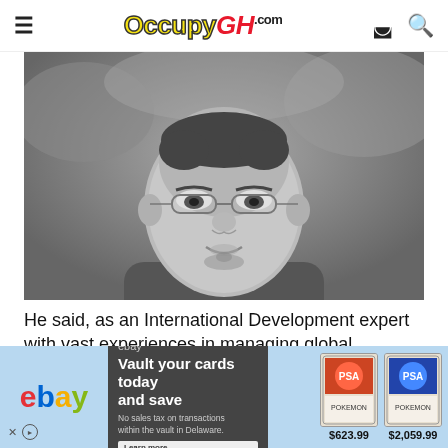OccupyGH.com
[Figure (photo): Black and white portrait photo of a man wearing glasses, looking forward with a slight smile, wearing a suit jacket]
He said, as an International Development expert with vast experiences in managing global innovation and development funds, he understands how the world and
[Figure (other): eBay advertisement banner showing 'Vault your cards today and save. No sales tax on transactions within the vault in Delaware. Learn more.' with Pokemon card images priced at $623.99 and $2,059.99]